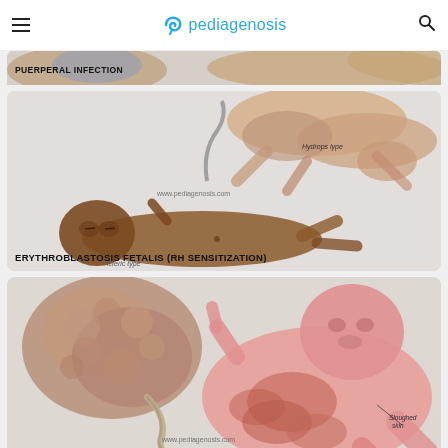pediagenosis
[Figure (illustration): Partial view of medical illustration labeled PUERPERAL INFECTION showing anatomical content, partially cropped at top of page]
[Figure (illustration): Medical illustration of Erythroblastosis Fetalis (RH Sensitization) showing hydrops fetalis with a hydropic type fetus held by hands at top, an icteric type infant lying down, and watermark www.pediagenosis.com]
[Figure (illustration): Medical illustration of Syphilis showing a pink newborn with sloughed skin annotation, a placenta, umbilical cord, and watermark www.pediagenosis.com]